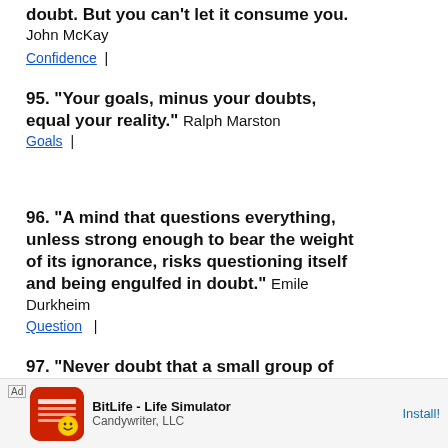doubt. But you can’t let it consume you.
John McKay
Confidence  |
95. "Your goals, minus your doubts, equal your reality." Ralph Marston
Goals  |
96. "A mind that questions everything, unless strong enough to bear the weight of its ignorance, risks questioning itself and being engulfed in doubt." Emile Durkheim
Question  |
97. "Never doubt that a small group of thoughtful citizens can change the world. Indeed, it is the only thing that ever has."
Margaret Mead
[Figure (other): Ad banner: BitLife - Life Simulator by Candywriter, LLC with Install button]